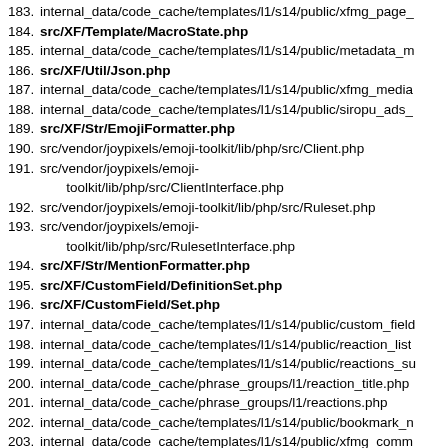183. internal_data/code_cache/templates/l1/s14/public/xfmg_page_...
184. src/XF/Template/MacroState.php
185. internal_data/code_cache/templates/l1/s14/public/metadata_m...
186. src/XF/Util/Json.php
187. internal_data/code_cache/templates/l1/s14/public/xfmg_media...
188. internal_data/code_cache/templates/l1/s14/public/siropu_ads_...
189. src/XF/Str/EmojiFormatter.php
190. src/vendor/joypixels/emoji-toolkit/lib/php/src/Client.php
191. src/vendor/joypixels/emoji-toolkit/lib/php/src/ClientInterface.php
192. src/vendor/joypixels/emoji-toolkit/lib/php/src/Ruleset.php
193. src/vendor/joypixels/emoji-toolkit/lib/php/src/RulesetInterface.php
194. src/XF/Str/MentionFormatter.php
195. src/XF/CustomField/DefinitionSet.php
196. src/XF/CustomField/Set.php
197. internal_data/code_cache/templates/l1/s14/public/custom_field...
198. internal_data/code_cache/templates/l1/s14/public/reaction_list...
199. internal_data/code_cache/templates/l1/s14/public/reactions_su...
200. internal_data/code_cache/phrase_groups/l1/reaction_title.php
201. internal_data/code_cache/phrase_groups/l1/reactions.php
202. internal_data/code_cache/templates/l1/s14/public/bookmark_n...
203. internal_data/code_cache/templates/l1/s14/public/xfmg_comm...
204. internal_data/code_cache/templates/l1/s14/public/message_ma...
205. src/XF/BbCode/Parser.php